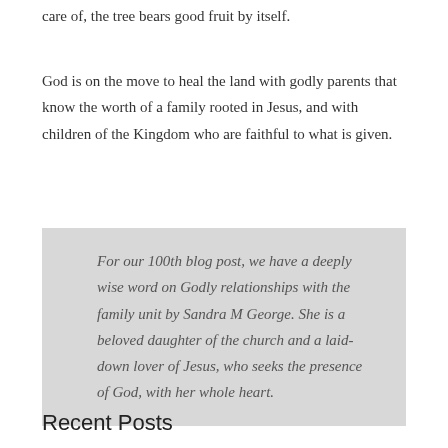care of, the tree bears good fruit by itself.
God is on the move to heal the land with godly parents that know the worth of a family rooted in Jesus, and with children of the Kingdom who are faithful to what is given.
For our 100th blog post, we have a deeply wise word on Godly relationships with the family unit by Sandra M George. She is a beloved daughter of the church and a laid-down lover of Jesus, who seeks the presence of God, with her whole heart.
Recent Posts